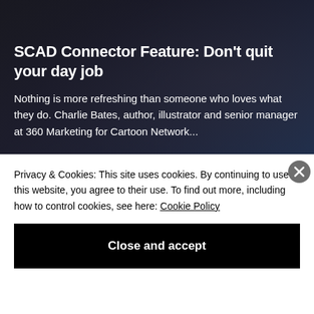[Figure (photo): Dark background photo showing a desk/workspace scene, used as article header image]
SCAD Connector Feature: Don't quit your day job
Nothing is more refreshing than someone who loves what they do. Charlie Bates, author, illustrator and senior manager at 360 Marketing for Cartoon Network...
Privacy & Cookies: This site uses cookies. By continuing to use this website, you agree to their use. To find out more, including how to control cookies, see here: Cookie Policy
Close and accept